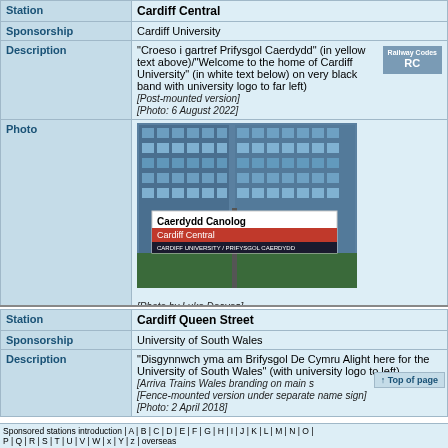| Field | Value |
| --- | --- |
| Station | Cardiff Central |
| Sponsorship | Cardiff University |
| Description | "Croeso i gartref Prifysgol Caerdydd" (in yellow text above)/"Welcome to the home of Cardiff University" (in white text below) on very black band with university logo to far left) [Post-mounted version] [Photo: 6 August 2022] |
| Photo | [Photo by Luke Deaves] |
| Field | Value |
| --- | --- |
| Station | Cardiff Queen Street |
| Sponsorship | University of South Wales |
| Description | "Disgynnwch yma am Brifysgol De Cymru Alight here for the University of South Wales" (with university logo to left) [Arriva Trains Wales branding on main sign] [Fence-mounted version under separate name sign] [Photo: 2 April 2018] |
Sponsored stations introduction | A | B | C | D | E | F | G | H | I | J | K | L | M | N | O | P | Q | R | S | T | U | V | W | x | Y | z | overseas